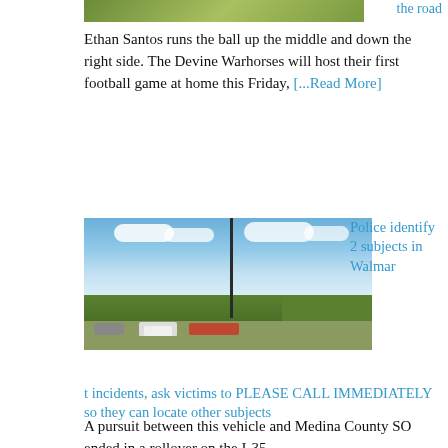[Figure (photo): Partial green field or sports area image at top]
the road
Ethan Santos runs the ball up the middle and down the right side. The Devine Warhorses will host their first football game at home this Friday, [...Read More]
[Figure (photo): A roadside scene showing vehicles including a white SUV parked along a highway near trees, with a utility pole visible against a partly cloudy sky. A pursuit between this vehicle and Medina County SO ended in a rollover on the I-35.]
Police identify 2 subjects in Walmart incidents, ask victims to PLEASE CALL IMMEDIATELY so they can locate other subjects
A pursuit between this vehicle and Medina County SO ended in a rollover on the I-35.